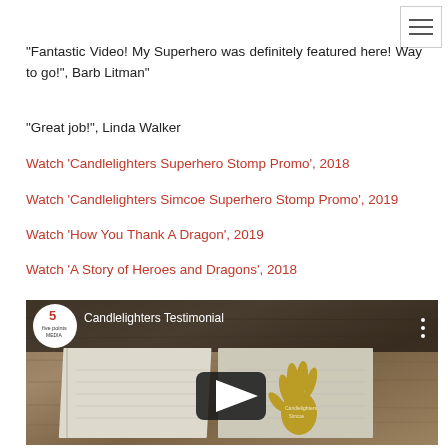"Fantastic Video! My Superhero was definitely featured here! Way to go!", Barb Litman"
"Great job!", Linda Walker
Watch 'Candlelighters Superhero Stomp Promo', 2018
Watch 'Candlelighters Simcoe Superhero Stomp Promo', 2019
Watch 'How You Thank A Dragon', 2019
Watch 'A Story of Heroes and Dragons', 2018
[Figure (screenshot): Embedded YouTube video player thumbnail showing 'Candlelighters Testimonial' by Five Points Media, with a notebook on a wooden table and a gold handprint visible, with a play button overlay.]